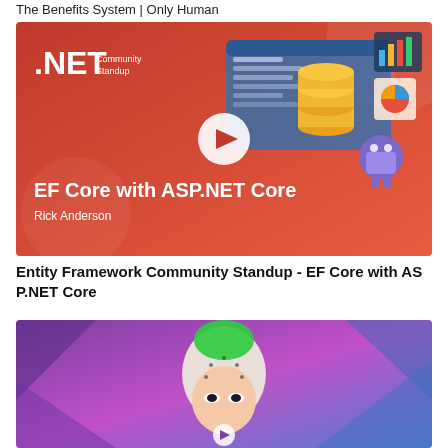The Benefits System | Only Human
[Figure (screenshot): .NET Community Standup thumbnail showing EF Core with ASP.NET Core, presenter Rick Anderson, with play button overlay]
Entity Framework Community Standup - EF Core with AS P.NET Core
[Figure (photo): Thumbnail of a drag queen with green hair and a white headpiece against a colorful purple/blue background, with a play button overlay]